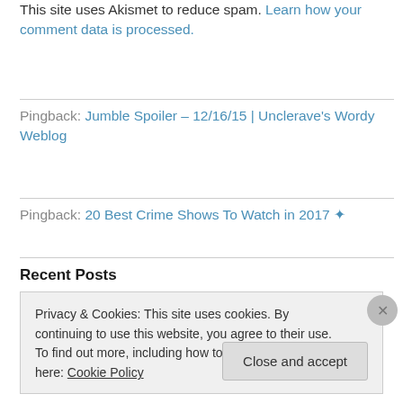This site uses Akismet to reduce spam. Learn how your comment data is processed.
Pingback: Jumble Spoiler – 12/16/15 | Unclerave's Wordy Weblog
Pingback: 20 Best Crime Shows To Watch in 2017 ✦
Recent Posts
Privacy & Cookies: This site uses cookies. By continuing to use this website, you agree to their use.
To find out more, including how to control cookies, see here: Cookie Policy
Close and accept